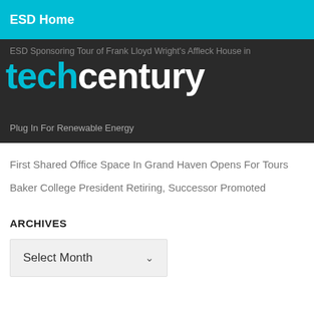ESD Home
[Figure (logo): techcentury logo with overlaid navigation links on dark background. 'tech' in cyan, 'century' in white. Background text includes: 'ESD Sponsoring Tour of Frank Lloyd Wright's Affleck House in' and 'Plug In For Renewable Energy']
First Shared Office Space In Grand Haven Opens For Tours
Baker College President Retiring, Successor Promoted
ARCHIVES
Select Month